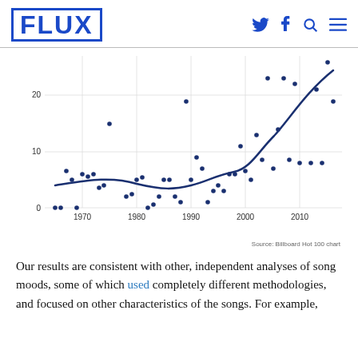FLUX
[Figure (continuous-plot): Scatter plot with fitted curve showing song mood metric over time from ~1965 to 2015. Y-axis ranges 0 to ~25+. X-axis shows years 1970, 1980, 1990, 2000, 2010. Dark blue data points scattered with a U-shaped then rising fitted curve in dark blue. Source: Billboard Hot 100 chart.]
Source: Billboard Hot 100 chart
Our results are consistent with other, independent analyses of song moods, some of which used completely different methodologies, and focused on other characteristics of the songs. For example,